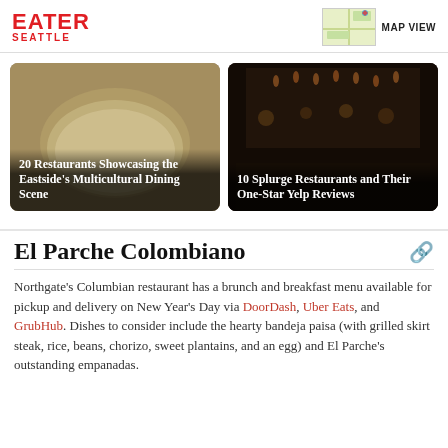EATER SEATTLE
[Figure (photo): Food photo showing a bowl of noodle dish with text overlay: 20 Restaurants Showcasing the Eastside's Multicultural Dining Scene]
[Figure (photo): Restaurant interior with chandeliers and set tables with text overlay: 10 Splurge Restaurants and Their One-Star Yelp Reviews]
El Parche Colombiano
Northgate's Columbian restaurant has a brunch and breakfast menu available for pickup and delivery on New Year's Day via DoorDash, Uber Eats, and GrubHub. Dishes to consider include the hearty bandeja paisa (with grilled skirt steak, rice, beans, chorizo, sweet plantains, and an egg) and El Parche's outstanding empanadas.